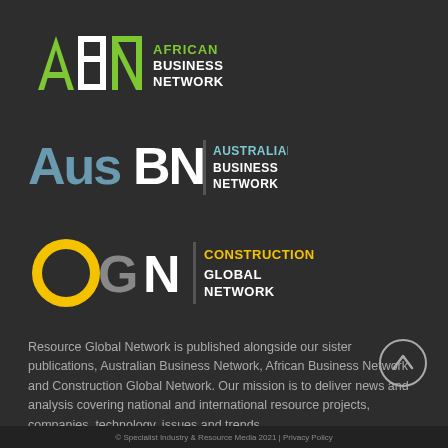[Figure (logo): African Business Network (ABN) logo — green stylized letters A, B, N with white text 'AFRICAN BUSINESS NETWORK' on dark background]
[Figure (logo): Australian Business Network (AusBN) logo — blue/grey stylized 'Aus' and 'BN' letters with white text 'AUSTRALIAN BUSINESS NETWORK' on dark background]
[Figure (logo): Construction Global Network (CGN) logo — yellow/gold 'C', grey 'GN' letters with gold text 'CONSTRUCTION GLOBAL NETWORK' on dark background]
Resource Global Network is published alongside our sister publications, Australian Business Network, African Business Network and Construction Global Network. Our mission is to deliver news and analysis covering national and international resource projects, companies, technology, issues and trends.
© Specialist Industry & Resource Media 2021 | Privacy Policy